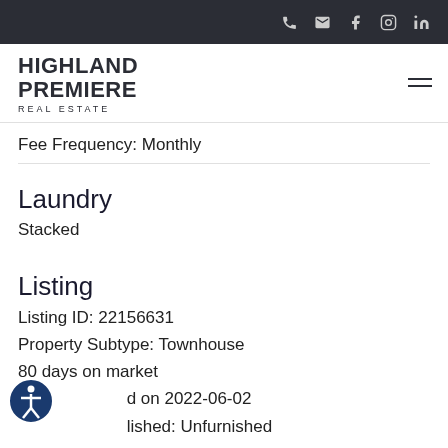Highland Premiere Real Estate
Fee Frequency: Monthly
Laundry
Stacked
Listing
Listing ID: 22156631
Property Subtype: Townhouse
80 days on market
Listed on 2022-06-02
Furnished: Unfurnished